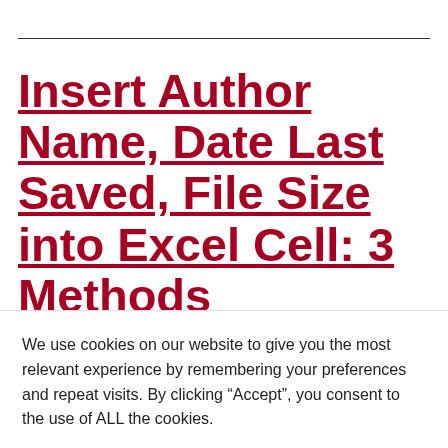Insert Author Name, Date Last Saved, File Size into Excel Cell: 3 Methods
We use cookies on our website to give you the most relevant experience by remembering your preferences and repeat visits. By clicking “Accept”, you consent to the use of ALL the cookies.